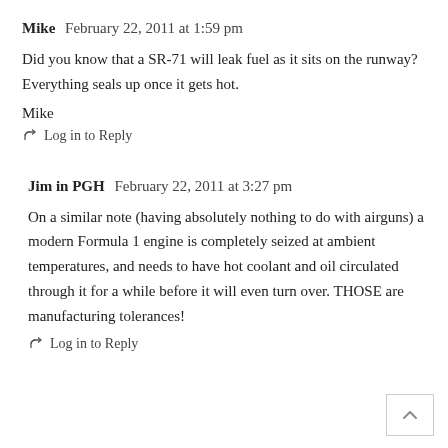Mike  February 22, 2011 at 1:59 pm
Did you know that a SR-71 will leak fuel as it sits on the runway? Everything seals up once it gets hot.
Mike
Log in to Reply
Jim in PGH  February 22, 2011 at 3:27 pm
On a similar note (having absolutely nothing to do with airguns) a modern Formula 1 engine is completely seized at ambient temperatures, and needs to have hot coolant and oil circulated through it for a while before it will even turn over. THOSE are manufacturing tolerances!
Log in to Reply